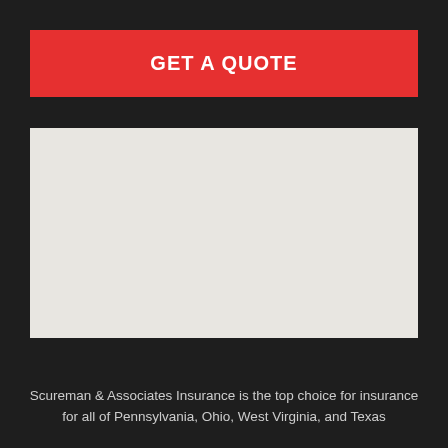GET A QUOTE
[Figure (map): A light grey map placeholder image showing a geographic area]
Scureman & Associates Insurance is the top choice for insurance for all of Pennsylvania, Ohio, West Virginia, and Texas